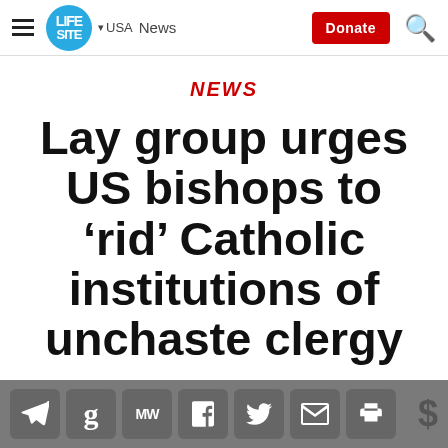LifeSite · USA · News · Donate
NEWS
Lay group urges US bishops to 'rid' Catholic institutions of unchaste clergy
[Figure (other): Social media share icons bar: Telegram, Gettr, MeWe, Facebook, Twitter, Email, Print, and dollar sign]